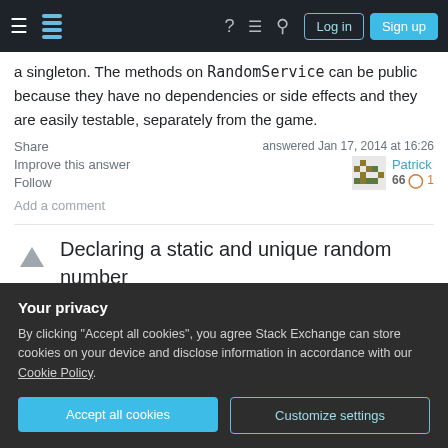Stack Exchange navigation bar with Log in and Sign up buttons
a singleton. The methods on RandomService can be public because they have no dependencies or side effects and they are easily testable, separately from the game.
Share
Improve this answer
Follow
answered Jan 17, 2014 at 16:26
Patrick
66 1
Add a comment
Declaring a static and unique random number
Your privacy
By clicking "Accept all cookies", you agree Stack Exchange can store cookies on your device and disclose information in accordance with our Cookie Policy.
Accept all cookies
Customize settings